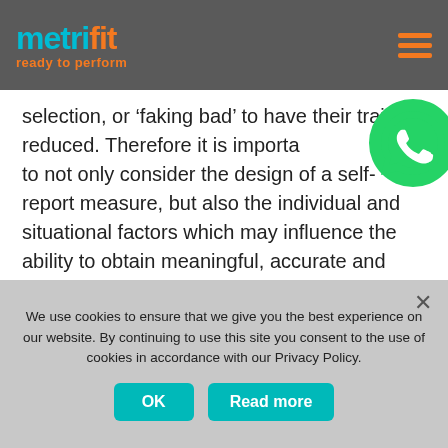metrifit ready to perform
selection, or ‘faking bad’ to have their training reduced. Therefore it is important to not only consider the design of a self-report measure, but also the individual and situational factors which may influence the ability to obtain meaningful, accurate and consistent data from athletes. It is clear to see that this information is of vital importance in preparing an athlete
[Figure (illustration): WhatsApp phone icon (green circle with white phone handset)]
We use cookies to ensure that we give you the best experience on our website. By continuing to use this site you consent to the use of cookies in accordance with our Privacy Policy.